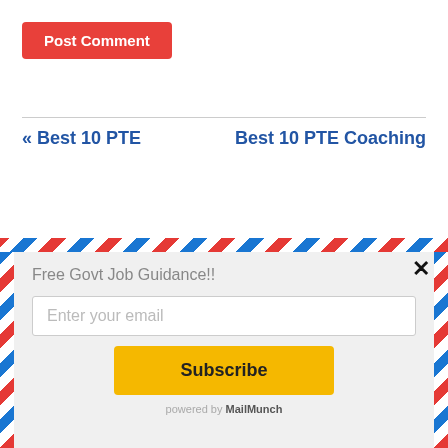Post Comment
« Best 10 PTE
Best 10 PTE Coaching
[Figure (screenshot): MailMunch popup with airmail border, title 'Free Govt Job Guidance!!', email input field, Subscribe button, and 'powered by MailMunch' footer. A close (×) button is in the top right.]